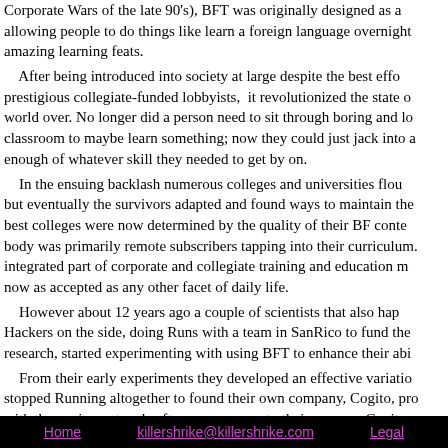Corporate Wars of the late 90's), BFT was originally designed as an allowing people to do things like learn a foreign language overnight amazing learning feats.
After being introduced into society at large despite the best efforts of prestigious collegiate-funded lobbyists, it revolutionized the state of the world over. No longer did a person need to sit through boring and long classroom to maybe learn something; now they could just jack into a enough of whatever skill they needed to get by on.
In the ensuing backlash numerous colleges and universities flourished but eventually the survivors adapted and found ways to maintain their best colleges were now determined by the quality of their BF content body was primarily remote subscribers tapping into their curriculum. integrated part of corporate and collegiate training and education now as accepted as any other facet of daily life.
However about 12 years ago a couple of scientists that also happened to be Hackers on the side, doing Runs with a team in SanRico to fund their research, started experimenting with using BFT to enhance their abilities.
From their early experiments they developed an effective variation, stopped Running altogether to found their own company, Cogito, providing with the equipment and software necessary to their process. Cogito was successful with local Runners, and ultimately was attractive enough for Verital to purchase the company to maintain its hold on the BFT technology. Verital expanded Cogito's business model to more markets, and also expanded technology's capabilities largely by making certain segments of it open — allows independent devs to script custom training routines (and also lets maintain its cred as a geek-friendly company).
Home   killershrike@killershrike.com   Legal